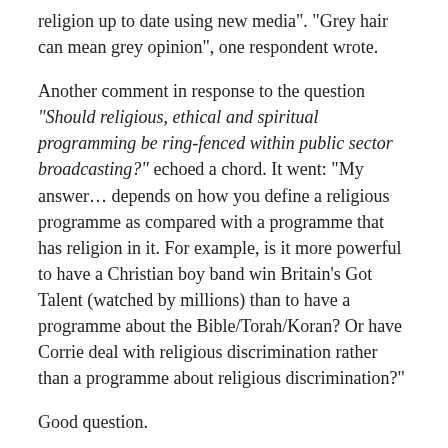religion up to date using new media". “Grey hair can mean grey opinion”, one respondent wrote.
Another comment in response to the question “Should religious, ethical and spiritual programming be ring-fenced within public sector broadcasting?” echoed a chord. It went: “My answer… depends on how you define a religious programme as compared with a programme that has religion in it. For example, is it more powerful to have a Christian boy band win Britain’s Got Talent (watched by millions) than to have a programme about the Bible/Torah/Koran? Or have Corrie deal with religious discrimination rather than a programme about religious discrimination?”
Good question.
When Ralph Lee, Channel 4’s Chief Creative Officer, was asked to name a good example of religious broadcasting at the Fourth Estate and TV on the latest developments...